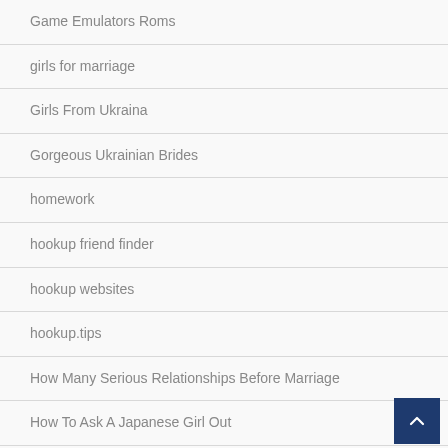Game Emulators Roms
girls for marriage
Girls From Ukraina
Gorgeous Ukrainian Brides
homework
hookup friend finder
hookup websites
hookup.tips
How Many Serious Relationships Before Marriage
How To Ask A Japanese Girl Out